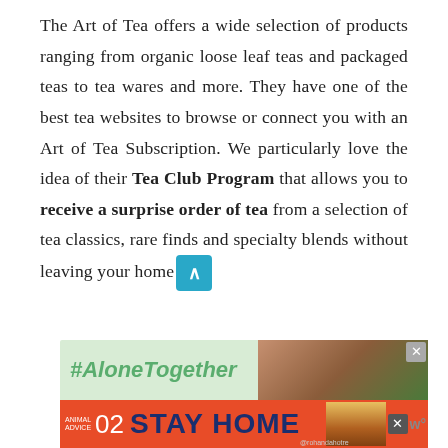The Art of Tea offers a wide selection of products ranging from organic loose leaf teas and packaged teas to tea wares and more. They have one of the best tea websites to browse or connect you with an Art of Tea Subscription. We particularly love the idea of their Tea Club Program that allows you to receive a surprise order of tea from a selection of tea classics, rare finds and specialty blends without leaving your home.
[Figure (screenshot): Two overlapping advertisement banners. Top banner shows '#AloneTogether' text on green background with photo of people. Bottom banner shows 'ANIMAL ADVICE 02 STAY HOME' on red/blue background with cartoon mushroom illustration.]